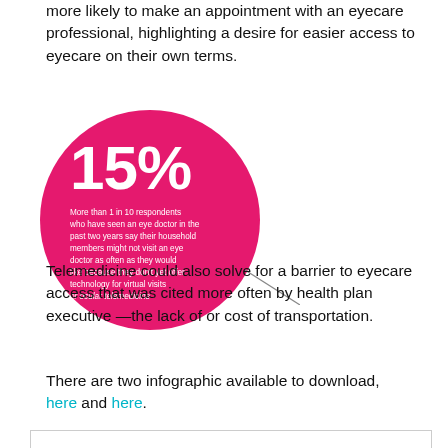more likely to make an appointment with an eyecare professional, highlighting a desire for easier access to eyecare on their own terms.
[Figure (infographic): Pink circle infographic showing 15% statistic: More than 1 in 10 respondents who have seen an eye doctor in the past two years say their household members might not visit an eye doctor as often as they would like because they don't yet offer technology for virtual visits or ocular telemedicine.]
Telemedicine could also solve for a barrier to eyecare access that was cited more often by health plan executive —the lack of or cost of transportation.
There are two infographic available to download, here and here.